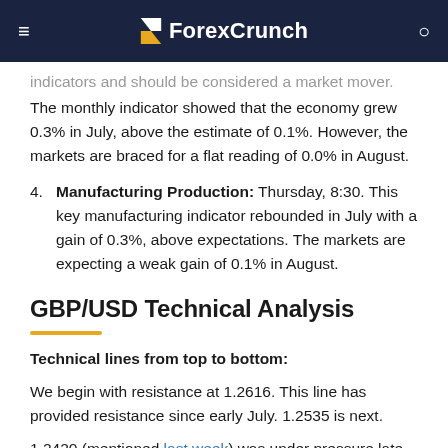ForexCrunch
indicators and should be considered a market mover. The monthly indicator showed that the economy grew 0.3% in July, above the estimate of 0.1%. However, the markets are braced for a flat reading of 0.0% in August.
4. Manufacturing Production: Thursday, 8:30. This key manufacturing indicator rebounded in July with a gain of 0.3%, above expectations. The markets are expecting a weak gain of 0.1% in August.
GBP/USD Technical Analysis
Technical lines from top to bottom:
We begin with resistance at 1.2616. This line has provided resistance since early July. 1.2535 is next.
1.2420 (mentioned last week) was under pressure late